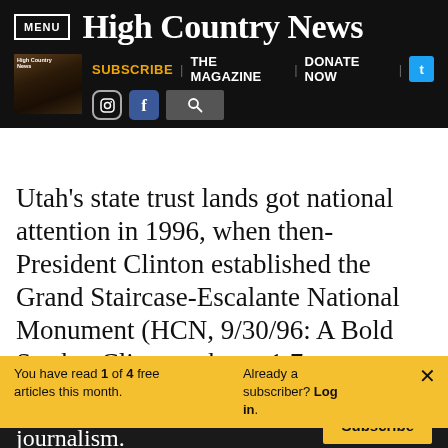MENU | High Country News | SUBSCRIBE | THE MAGAZINE | DONATE NOW
Utah's state trust lands got national attention in 1996, when then-President Clinton established the Grand Staircase-Escalante National Monument (HCN, 9/30/96: A Bold Stroke: Clinton takes a 1.7
You have read 1 of 4 free articles this month. Already a subscriber? Log in. ×
Support independent journalism. Subscribe